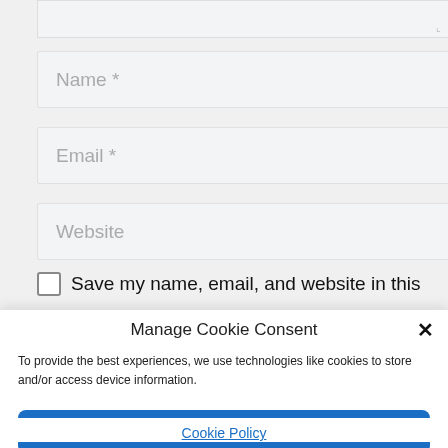[Figure (screenshot): Partial textarea input field at the top of the page]
Name *
Email *
Website
Save my name, email, and website in this
Manage Cookie Consent
To provide the best experiences, we use technologies like cookies to store and/or access device information.
Accept
Cookie Policy